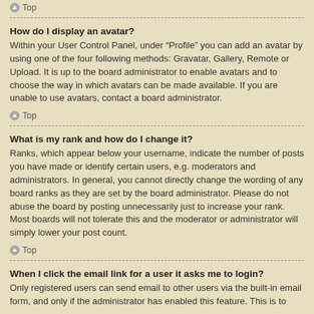Top
How do I display an avatar?
Within your User Control Panel, under “Profile” you can add an avatar by using one of the four following methods: Gravatar, Gallery, Remote or Upload. It is up to the board administrator to enable avatars and to choose the way in which avatars can be made available. If you are unable to use avatars, contact a board administrator.
Top
What is my rank and how do I change it?
Ranks, which appear below your username, indicate the number of posts you have made or identify certain users, e.g. moderators and administrators. In general, you cannot directly change the wording of any board ranks as they are set by the board administrator. Please do not abuse the board by posting unnecessarily just to increase your rank. Most boards will not tolerate this and the moderator or administrator will simply lower your post count.
Top
When I click the email link for a user it asks me to login?
Only registered users can send email to other users via the built-in email form, and only if the administrator has enabled this feature. This is to